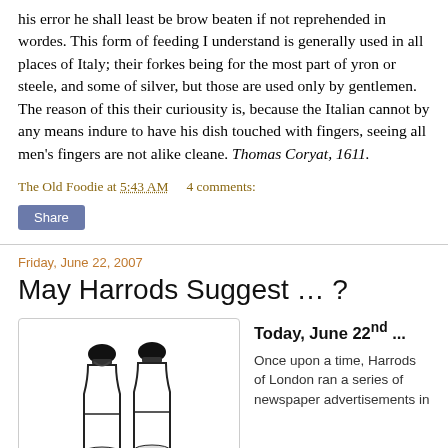his error he shall least be brow beaten if not reprehended in wordes. This form of feeding I understand is generally used in all places of Italy; their forkes being for the most part of yron or steele, and some of silver, but those are used only by gentlemen. The reason of this their curiousity is, because the Italian cannot by any means indure to have his dish touched with fingers, seeing all men's fingers are not alike cleane. Thomas Coryat, 1611.
The Old Foodie at 5:43 AM   4 comments:
Share
Friday, June 22, 2007
May Harrods Suggest … ?
[Figure (illustration): Black and white illustration of two wine or pepper mill bottles with black tops, standing side by side]
Today, June 22nd ...
Once upon a time, Harrods of London ran a series of newspaper advertisements in